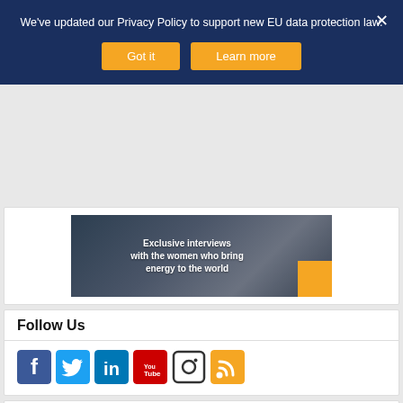We've updated our Privacy Policy to support new EU data protection law.
Got it | Learn more
[Figure (photo): Dark background banner image with white bold text reading 'Exclusive interviews with the women who bring energy to the world' and an orange square accent in the bottom right corner]
Follow Us
[Figure (infographic): Row of social media icons: Facebook (blue), Twitter (light blue), LinkedIn (dark blue), YouTube (red), Instagram (outline), RSS feed (orange)]